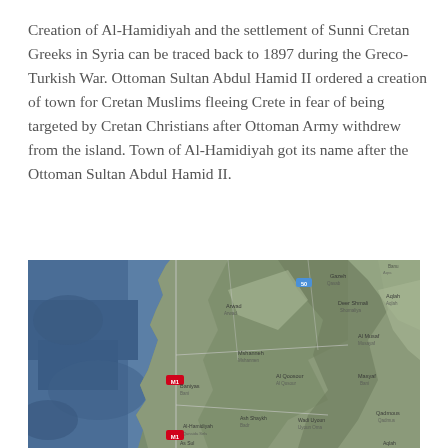Creation of Al-Hamidiyah and the settlement of Sunni Cretan Greeks in Syria can be traced back to 1897 during the Greco-Turkish War. Ottoman Sultan Abdul Hamid II ordered a creation of town for Cretan Muslims fleeing Crete in fear of being targeted by Cretan Christians after Ottoman Army withdrew from the island. Town of Al-Hamidiyah got its name after the Ottoman Sultan Abdul Hamid II.
[Figure (map): Satellite/terrain map showing the coastal region of western Syria along the Mediterranean Sea, with road labels and place names visible including Al-Hamidiyah area.]